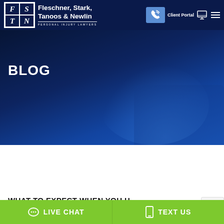Fleschner, Stark, Tanoos & Newlin PERSONAL INJURY LAWYERS | Client Portal
BLOG
WHAT TO EXPECT WHEN YOU H
LIVE CHAT
TEXT US